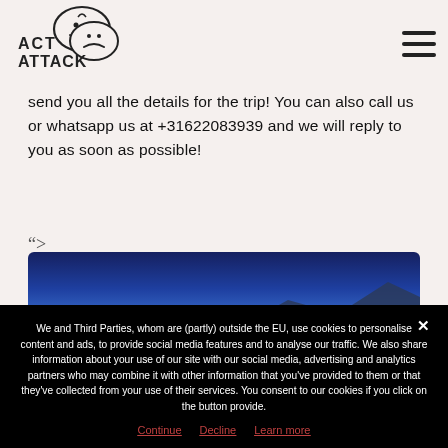[Figure (logo): Act Attack logo with comedy/tragedy theatre masks and text ACT ATTACK]
send you all the details for the trip! You can also call us or whatsapp us at +31622083939 and we will reply to you as soon as possible!
[Figure (photo): Blue sky with mountain landscape photograph]
We and Third Parties, whom are (partly) outside the EU, use cookies to personalise content and ads, to provide social media features and to analyse our traffic. We also share information about your use of our site with our social media, advertising and analytics partners who may combine it with other information that you've provided to them or that they've collected from your use of their services. You consent to our cookies if you click on the button provide.
Continue
Decline
Learn more